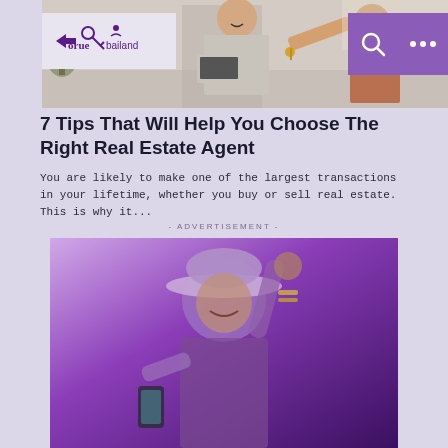[Figure (photo): A smiling real estate agent in a gray blazer holding a tablet and handing keys to a client]
[Figure (logo): Orue Bailand logo with key icon]
7 Tips That Will Help You Choose The Right Real Estate Agent
You are likely to make one of the largest transactions in your lifetime, whether you buy or sell real estate. This is why it...
- ADVERTISEMENT -
[Figure (photo): Woman with hat raising her arm joyfully, image has a purple overlay tint]